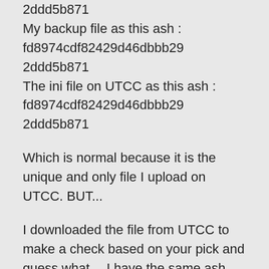2ddd5b871
My backup file as this ash : fd8974cdf82429d46dbbb292ddd5b871
The ini file on UTCC as this ash : fd8974cdf82429d46dbbb292ddd5b871
Which is normal because it is the unique and only file I upload on UTCC. BUT...
I downloaded the file from UTCC to make a check based on your pick and guess what... I have the same ash